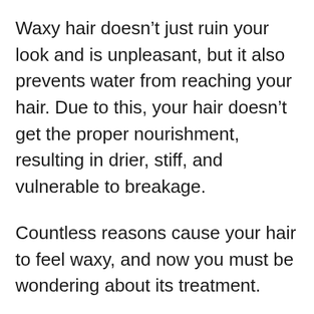Waxy hair doesn’t just ruin your look and is unpleasant, but it also prevents water from reaching your hair. Due to this, your hair doesn’t get the proper nourishment, resulting in drier, stiff, and vulnerable to breakage.
Countless reasons cause your hair to feel waxy, and now you must be wondering about its treatment.
Luckily, the problem of oily hair is preventable and treatable. Here we will discuss a few different effective ways to solve this problem.